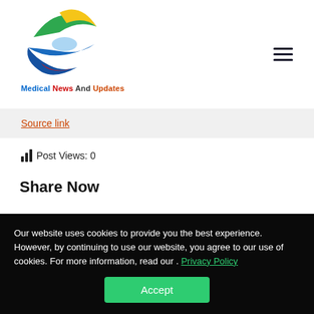[Figure (logo): Medical News And Updates logo — colorful swoosh/arrow shapes in green, yellow, blue, and red, forming an abstract eye/arrow shape]
Medical News And Updates
Source link
Post Views: 0
Share Now
Our website uses cookies to provide you the best experience. However, by continuing to use our website, you agree to our use of cookies. For more information, read our . Privacy Policy
Accept